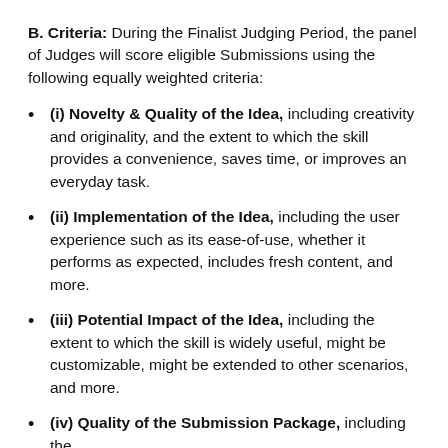B. Criteria: During the Finalist Judging Period, the panel of Judges will score eligible Submissions using the following equally weighted criteria:
(i) Novelty & Quality of the Idea, including creativity and originality, and the extent to which the skill provides a convenience, saves time, or improves an everyday task.
(ii) Implementation of the Idea, including the user experience such as its ease-of-use, whether it performs as expected, includes fresh content, and more.
(iii) Potential Impact of the Idea, including the extent to which the skill is widely useful, might be customizable, might be extended to other scenarios, and more.
(iv) Quality of the Submission Package, including the